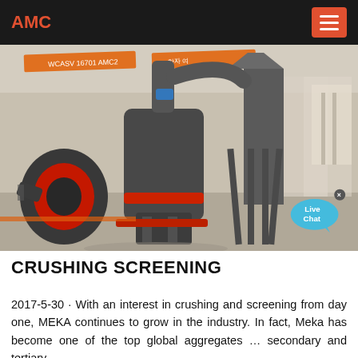AMC
[Figure (photo): Industrial crushing and screening machinery in a large warehouse/exhibition hall. Large dark gray vertical grinding mill in the foreground with red accents, horizontal conveyor piping, and tall cyclone separator tower in the background. Orange banners hang from the ceiling. Reflective concrete floor.]
CRUSHING SCREENING
2017-5-30 · With an interest in crushing and screening from day one, MEKA continues to grow in the industry. In fact, Meka has become one of the top global aggregates … secondary and tertiary